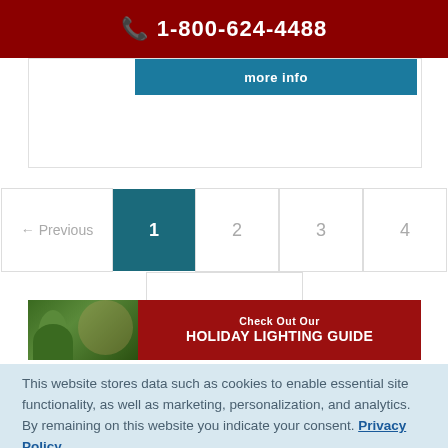📞 1-800-624-4488
[Figure (screenshot): Partial blue 'more info' button and card border visible below the header]
[Figure (infographic): Pagination navigation: ← Previous | 1 (active) | 2 | 3 | 4 and Next →]
[Figure (illustration): Holiday Lighting Guide banner with child in Santa hat near Christmas tree on left, and text 'Check Out Our HOLIDAY LIGHTING GUIDE' on red background]
This website stores data such as cookies to enable essential site functionality, as well as marketing, personalization, and analytics. By remaining on this website you indicate your consent. Privacy Policy